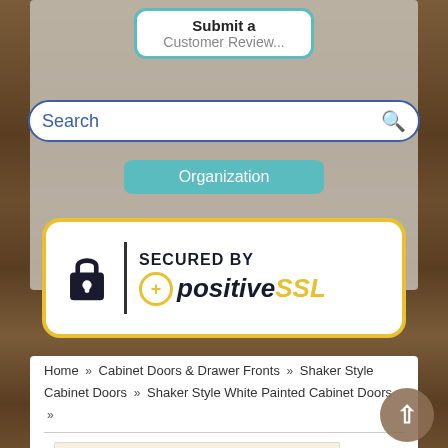[Figure (screenshot): Mobile website screenshot showing a 'Submit a Customer Review...' button, a search bar with blue border and search icon, an 'Organization' teal tab, a 'SECURED BY positiveSSL' badge with gold border and lock icon, breadcrumb navigation reading 'Home > Cabinet Doors & Drawer Fronts > Shaker Style Cabinet Doors > Shaker Style White Painted Cabinet Doors', a horizontal divider, and a partial cabinet door product image at the bottom. A dark back-to-top arrow button is visible at the bottom right. The background is a dark wood texture.]